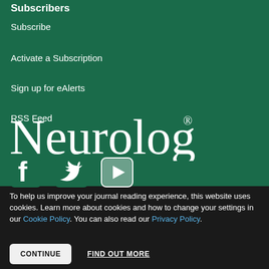Subscribers
Subscribe
Activate a Subscription
Sign up for eAlerts
RSS Feed
[Figure (logo): Neurology journal logo in white serif text with registered trademark symbol on dark green background]
[Figure (illustration): Social media icons: Facebook, Twitter, YouTube in white on green background]
To help us improve your journal reading experience, this website uses cookies. Learn more about cookies and how to change your settings in our Cookie Policy. You can also read our Privacy Policy.
CONTINUE   FIND OUT MORE